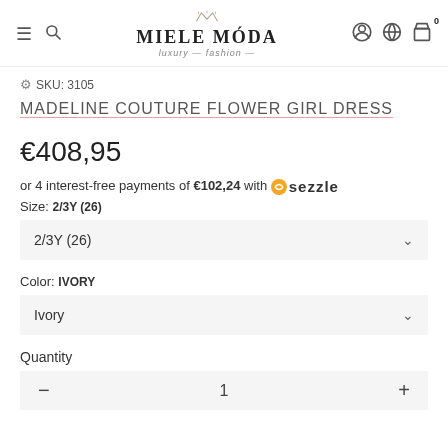Miele Moda — luxury fashion — navigation header with hamburger, search, logo, account, language, cart icons
SKU: 3105
MADELINE COUTURE FLOWER GIRL DRESS
€408,95
or 4 interest-free payments of €102,24 with Sezzle
Size: 2/3Y (26)
2/3Y (26)
Color: IVORY
Ivory
Quantity
— 1 +